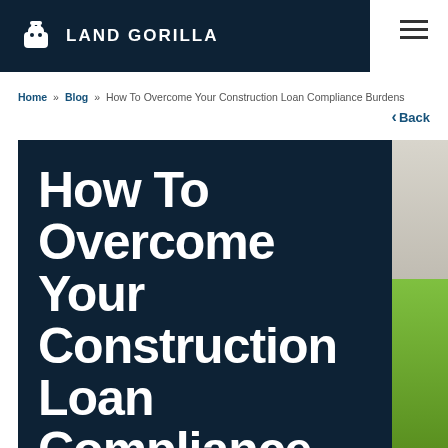LAND GORILLA
Home » Blog » How To Overcome Your Construction Loan Compliance Burdens
< Back
How To Overcome Your Construction Loan Compliance
[Figure (photo): Hero image with dark navy background showing bold white title text 'How To Overcome Your Construction Loan Compliance' with a partial view of wood and green grass on the right side]